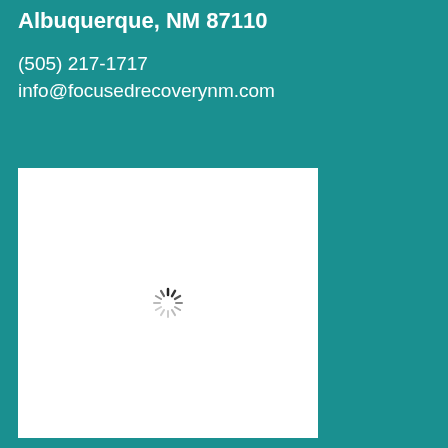Albuquerque, NM 87110
(505) 217-1717
info@focusedrecoverynm.com
[Figure (other): White rectangle with a loading spinner (circular dashed wheel icon) centered inside it]